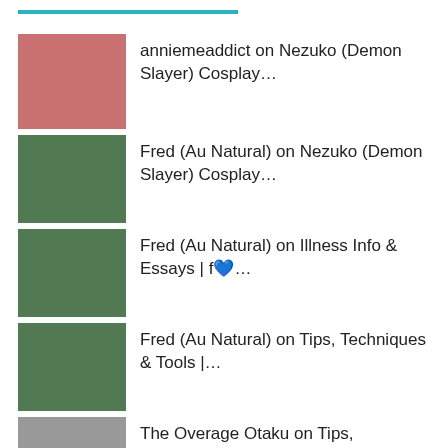anniemeaddict on Nezuko (Demon Slayer) Cosplay…
Fred (Au Natural) on Nezuko (Demon Slayer) Cosplay…
Fred (Au Natural) on Illness Info & Essays | f💙…
Fred (Au Natural) on Tips, Techniques & Tools |…
The Overage Otaku on Tips, Techniques & Tools |…
INSTAGRAM
[Figure (photo): Three Instagram photos side by side: dark background portrait, green forest cosplay, and tan/brown portrait]